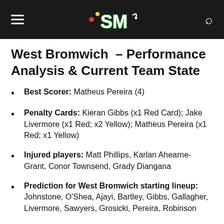SM (SportsMole logo)
West Bromwich – Performance Analysis & Current Team State
Best Scorer: Matheus Pereira (4)
Penalty Cards: Kieran Gibbs (x1 Red Card); Jake Livermore (x1 Red; x2 Yellow); Matheus Pereira (x1 Red; x1 Yellow)
Injured players: Matt Phillips, Karlan Ahearne-Grant, Conor Townsend, Grady Diangana
Prediction for West Bromwich starting lineup: Johnstone, O'Shea, Ajayi, Bartley, Gibbs, Gallagher, Livermore, Sawyers, Grosicki, Pereira, Robinson